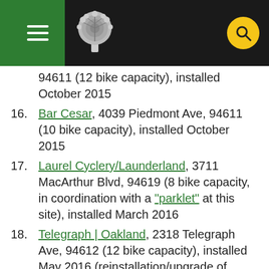City of Oakland government page header with navigation
94611 (12 bike capacity), installed October 2015
16. Bar Cesar, 4039 Piedmont Ave, 94611 (10 bike capacity), installed October 2015
17. Laurel Cyclery/Launderland, 3711 MacArthur Blvd, 94619 (8 bike capacity, in coordination with a "parklet" at this site), installed March 2016
18. Telegraph | Oakland, 2318 Telegraph Ave, 94612 (12 bike capacity), installed May 2016 (reinstallation/upgrade of corral installed November 2013)
19. Monster Pho, 3905 Broadway, 94611 (8 bike capacity), installed June 2016
20. Octagon Community Acupuncture, 5253